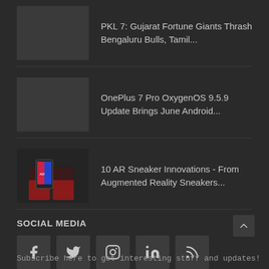PKL 7: Gujarat Fortune Giants Thrash Bengaluru Bulls, Tamil...
OnePlus 7 Pro OxygenOS 9.5.9 Update Brings June Android...
10 AR Sneaker Innovations - From Augmented Reality Sneakers...
SOCIAL MEDIA
[Figure (infographic): Social media icons: Facebook, Twitter, Instagram, LinkedIn, RSS]
Subscribe here to get interesting stuff and updates!